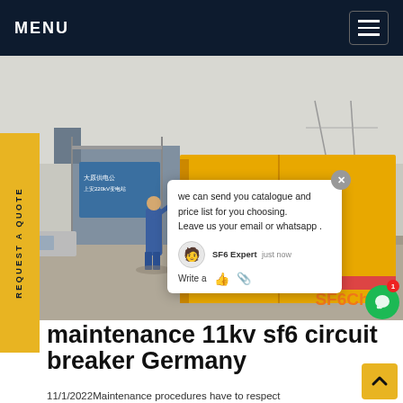MENU
[Figure (photo): A yellow SF6 gas service truck parked at an industrial facility, with a worker in blue overalls, industrial buildings and signage visible in the background.]
REQUEST A QUOTE
we can send you catalogue and price list for you choosing.
Leave us your email or whatsapp .
SF6 Expert   just now
Write a
SF6China
maintenance 11kv sf6 circuit breaker Germany
11/1/2022Maintenance procedures have to respect